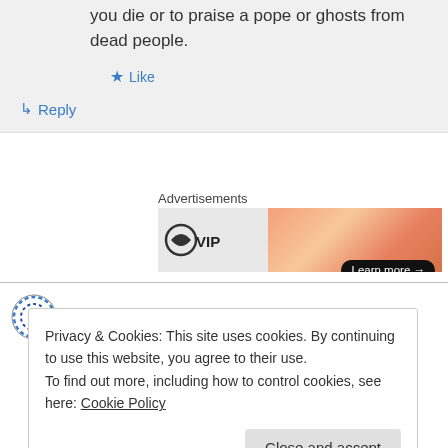you die or to praise a pope or ghosts from dead people.
★ Like
↳ Reply
Advertisements
[Figure (screenshot): WordPress VIP advertisement banner with orange gradient and Learn more button]
joe on April 8, 2015 at 10:22 am
Privacy & Cookies: This site uses cookies. By continuing to use this website, you agree to their use.
To find out more, including how to control cookies, see here: Cookie Policy
Close and accept